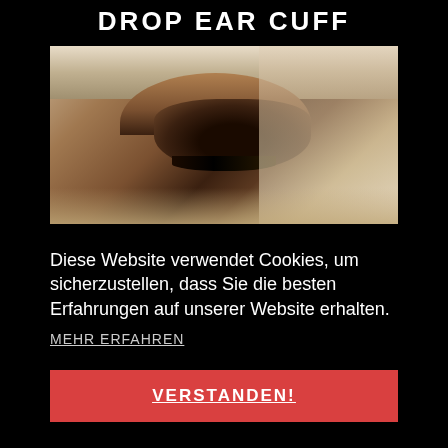DROP EAR CUFF
[Figure (photo): Close-up photo of a human eye with dark eyelashes, eyebrow, and skin visible. Black background.]
Diese Website verwendet Cookies, um sicherzustellen, dass Sie die besten Erfahrungen auf unserer Website erhalten.
MEHR ERFAHREN
VERSTANDEN!